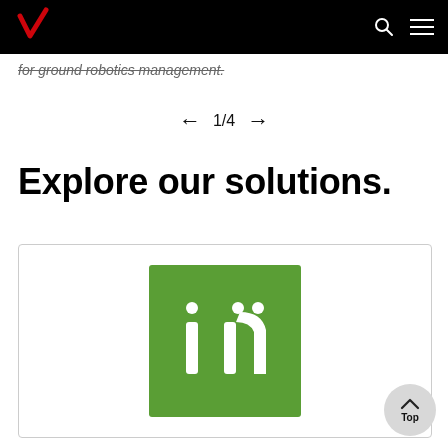Verizon — navigation header with logo, search, and menu icons
for ground robotics management.
← 1/4 →
Explore our solutions.
[Figure (logo): Card with InVision (or similar) green square logo showing stylized 'in' text with dots above i and n characters]